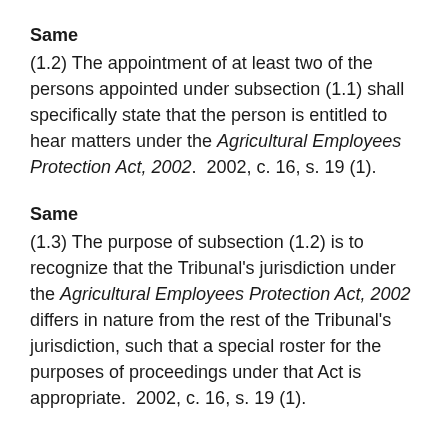Same
(1.2) The appointment of at least two of the persons appointed under subsection (1.1) shall specifically state that the person is entitled to hear matters under the Agricultural Employees Protection Act, 2002.  2002, c. 16, s. 19 (1).
Same
(1.3) The purpose of subsection (1.2) is to recognize that the Tribunal's jurisdiction under the Agricultural Employees Protection Act, 2002 differs in nature from the rest of the Tribunal's jurisdiction, such that a special roster for the purposes of proceedings under that Act is appropriate.  2002, c. 16, s. 19 (1).